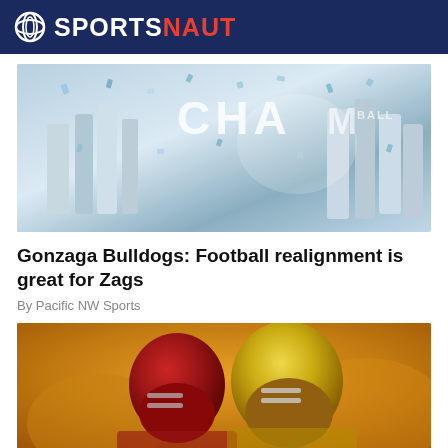SPORTSNAUT
[Figure (photo): Basketball championship celebration scene with confetti and CHAMP text banner, blue and white tones]
Gonzaga Bulldogs: Football realignment is great for Zags
By Pacific NW Sports
[Figure (photo): Two football players facing each other, one in red helmet and one in yellow helmet, blurred orange background]
Sportsnaut logo and social media icons: Facebook, Twitter, LinkedIn, Instagram, YouTube